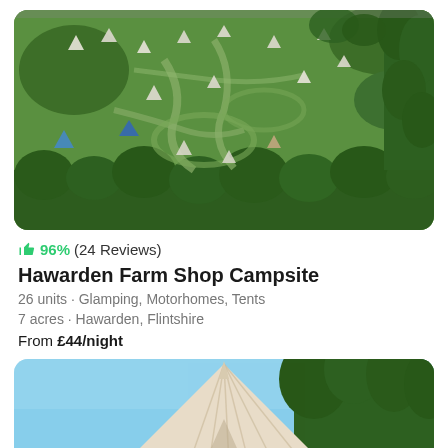[Figure (photo): Aerial view of a campsite with green fields, winding paths, tents and glamping units scattered across the landscape, surrounded by trees]
👍 96% (24 Reviews)
Hawarden Farm Shop Campsite
26 units · Glamping, Motorhomes, Tents
7 acres · Hawarden, Flintshire
From £44/night
[Figure (photo): Bell tent with a pointed canvas roof against a clear blue sky with trees in the background]